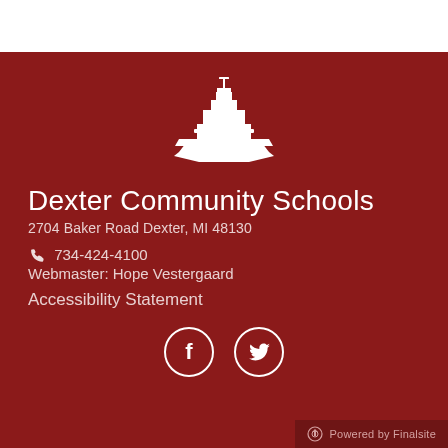[Figure (logo): White ship/battleship logo icon on dark red background, centered at top]
Dexter Community Schools
2704 Baker Road Dexter, MI 48130
📞 734-424-4100
Webmaster: Hope Vestergaard
Accessibility Statement
[Figure (illustration): Facebook and Twitter social media icon circles in white outline on dark red background]
Powered by Finalsite